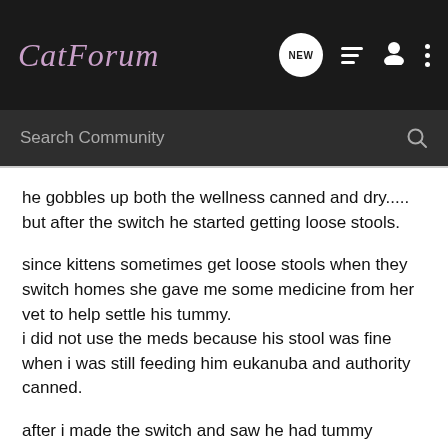CatForum
Search Community
he gobbles up both the wellness canned and dry.....
but after the switch he started getting loose stools.
since kittens sometimes get loose stools when they switch homes she gave me some medicine from her vet to help settle his tummy.
i did not use the meds because his stool was fine when i was still feeding him eukanuba and authority canned.
after i made the switch and saw he had tummy problems i started the meds again......
but he still has semi loose stools (some will be firm, and some watery in the same bowl movement)